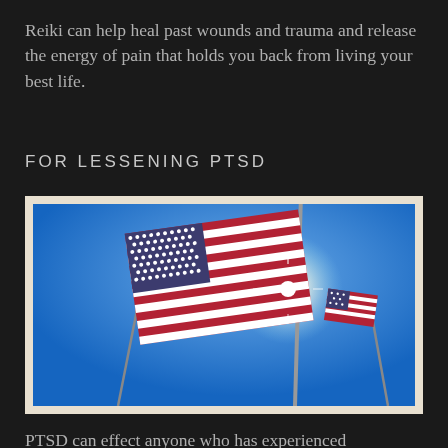Reiki can help heal past wounds and trauma and release the energy of pain that holds you back from living your best life.
FOR LESSENING PTSD
[Figure (photo): Photograph of American flags on poles against a bright blue sky, viewed from below, with sunlight flare visible. Multiple flags visible, the largest central flag showing stars and stripes clearly.]
PTSD can effect anyone who has experienced